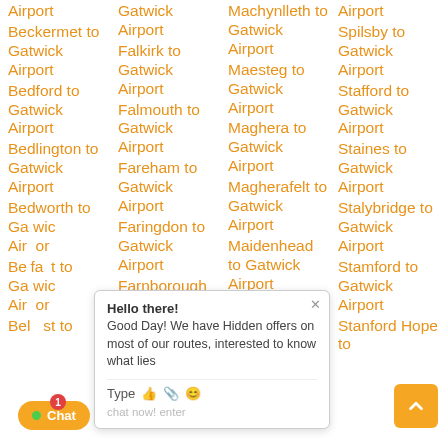Airport
Beckermet to Gatwick Airport
Bedford to Gatwick Airport
Bedlington to Gatwick Airport
Bedworth to Gatwick Airport
Belfast to Gatwick Airport
Gatwick Airport
Falkirk to Gatwick Airport
Falmouth to Gatwick Airport
Fareham to Gatwick Airport
Faringdon to Gatwick Airport
Farnborough to Gatwick Airport
Farnham to
Machynlleth to Gatwick Airport
Maesteg to Gatwick Airport
Maghera to Gatwick Airport
Magherafelt to Gatwick Airport
Maidenhead to Gatwick Airport
Maidstone to Gatwick Airport
Airport
Spilsby to Gatwick Airport
Stafford to Gatwick Airport
Staines to Gatwick Airport
Stalybridge to Gatwick Airport
Stamford to Gatwick Airport
Stanford Hope to